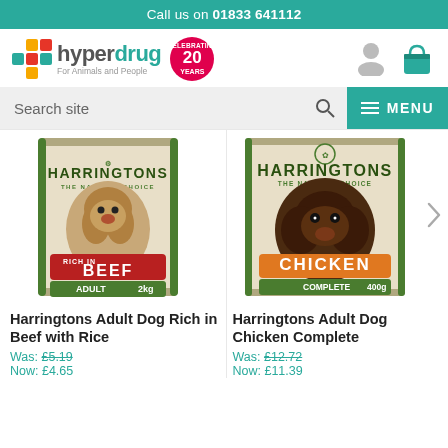Call us on 01833 641112
[Figure (logo): Hyperdrug logo with coloured cross, brand name and 20 Years celebrating badge]
Search site
[Figure (photo): Harringtons Adult Dog Rich in Beef product bag, 2kg]
[Figure (photo): Harringtons Adult Dog Chicken Complete product bag, 400g]
Harringtons Adult Dog Rich in Beef with Rice
Harringtons Adult Dog Chicken Complete
Was: £5.19
Now: £4.65
Was: £12.72
Now: £11.39